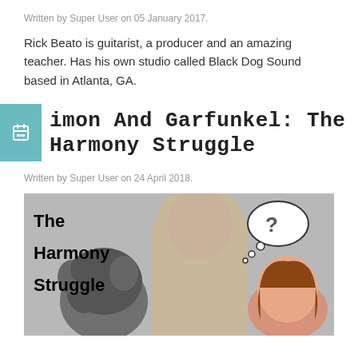Written by Super User on 05 January 2017.
Rick Beato is guitarist, a producer and an amazing teacher. Has his own studio called Black Dog Sound based in Atlanta, GA.
Simon And Garfunkel: The Harmony Struggle
Written by Super User on 24 April 2018.
[Figure (photo): Image showing text 'The Harmony Struggle' overlaid on a photo of two men (Simon and Garfunkel) with a thought bubble containing a question mark, and a woman on the right side.]